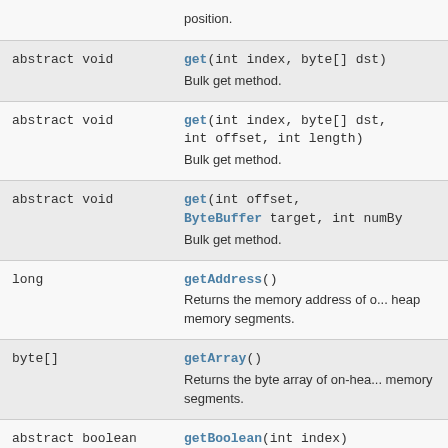| Type | Method / Description |
| --- | --- |
|  | position. |
| abstract void | get(int index, byte[] dst)
Bulk get method. |
| abstract void | get(int index, byte[] dst, int offset, int length)
Bulk get method. |
| abstract void | get(int offset, ByteBuffer target, int numBy...
Bulk get method. |
| long | getAddress()
Returns the memory address of o... heap memory segments. |
| byte[] | getArray()
Returns the byte array of on-hea... memory segments. |
| abstract boolean | getBoolean(int index)
Reads one byte at the given posit... and returns its boolean |